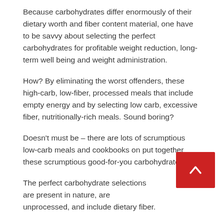Because carbohydrates differ enormously of their dietary worth and fiber content material, one have to be savvy about selecting the perfect carbohydrates for profitable weight reduction, long-term well being and weight administration.
How? By eliminating the worst offenders, these high-carb, low-fiber, processed meals that include empty energy and by selecting low carb, excessive fiber, nutritionally-rich meals. Sound boring?
Doesn't must be – there are lots of scrumptious low-carb meals and cookbooks on put together these scrumptious good-for-you carbohydrates.
The perfect carbohydrate selections are present in nature, are unprocessed, and include dietary fiber.
[Figure (other): Red back/up navigation button with white chevron arrow pointing upward]
Fiber-rich carbohydrates are decrease in energy, include